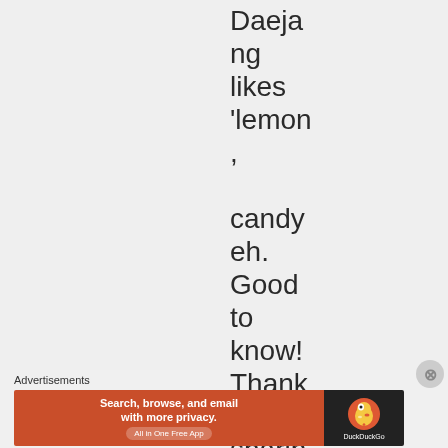Daejang likes 'lemon, candy eh. Good to know! Thanks for sharin
Advertisements
[Figure (screenshot): DuckDuckGo advertisement banner: orange/red left panel with text 'Search, browse, and email with more privacy. All in One Free App' and dark right panel with DuckDuckGo duck logo and brand name.]